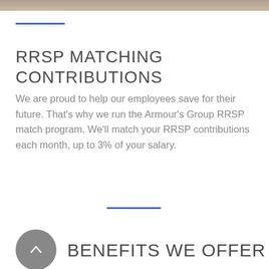[Figure (photo): Top decorative banner image, appears to be a blurred or textured background photo]
RRSP MATCHING CONTRIBUTIONS
We are proud to help our employees save for their future. That's why we run the Armour's Group RRSP match program. We'll match your RRSP contributions each month, up to 3% of your salary.
BENEFITS WE OFFER